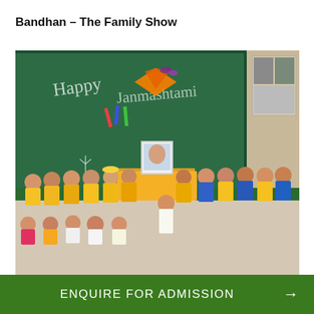Bandhan – The Family Show
[Figure (photo): Children dressed in traditional Indian costumes (yellow, orange, blue, and white) posed in a classroom decorated with a green chalkboard that reads 'Happy Janmashtami', with paper decorations and a framed photo on a yellow-draped table.]
ENQUIRE FOR ADMISSION →